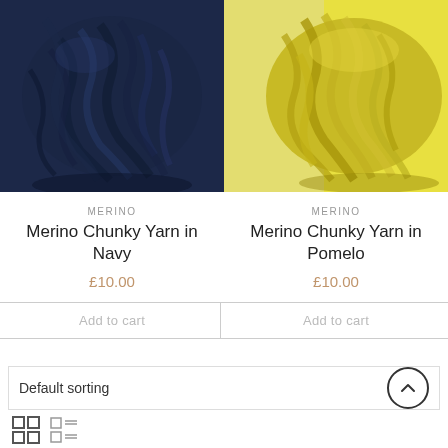[Figure (photo): Skein of navy blue merino chunky yarn]
[Figure (photo): Skein of yellow-green (pomelo) merino chunky yarn]
MERINO
Merino Chunky Yarn in Navy
£10.00
Add to cart
MERINO
Merino Chunky Yarn in Pomelo
£10.00
Add to cart
Default sorting